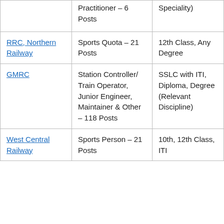|  | Practitioner – 6 Posts | Speciality) |
| RRC, Northern Railway | Sports Quota – 21 Posts | 12th Class, Any Degree |
| GMRC | Station Controller/ Train Operator, Junior Engineer, Maintainer & Other – 118 Posts | SSLC with ITI, Diploma, Degree (Relevant Discipline) |
| West Central Railway | Sports Person – 21 Posts | 10th, 12th Class, ITI |